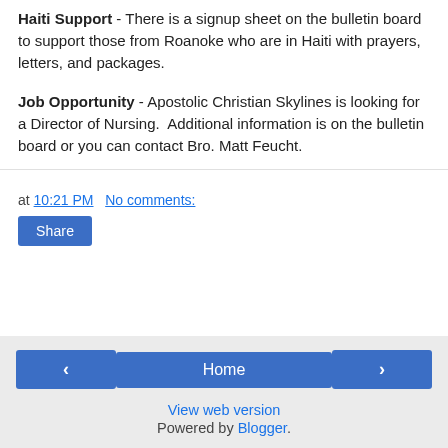Haiti Support - There is a signup sheet on the bulletin board to support those from Roanoke who are in Haiti with prayers, letters, and packages.
Job Opportunity - Apostolic Christian Skylines is looking for a Director of Nursing.  Additional information is on the bulletin board or you can contact Bro. Matt Feucht.
at 10:21 PM   No comments:
Share
‹   Home   ›   View web version   Powered by Blogger.